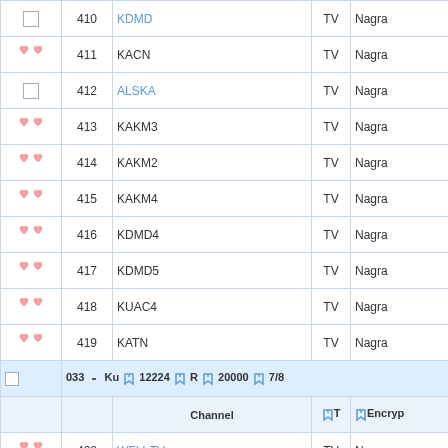|  | # | Channel | T | Encryp... |
| --- | --- | --- | --- | --- |
| [square] | 410 | KDMD | TV | Nagra... |
| [hearts] | 411 | KACN | TV | Nagra... |
| [square] | 412 | ALSKA | TV | Nagra... |
| [hearts] | 413 | KAKM3 | TV | Nagra... |
| [hearts] | 414 | KAKM2 | TV | Nagra... |
| [hearts] | 415 | KAKM4 | TV | Nagra... |
| [hearts] | 416 | KDMD4 | TV | Nagra... |
| [hearts] | 417 | KDMD5 | TV | Nagra... |
| [hearts] | 418 | KUAC4 | TV | Nagra... |
| [hearts] | 419 | KATN | TV | Nagra... |
| [separator] | 033 - Ku  12224 R  20000  7/8 |  |  |  |
| [header] |  | Channel | T | Encryp... |
| [hearts] | 420 | WFLI-TV | TV | Nagra... |
|  | 421 | WBND-LP | TV | Nagra... |
|  | 422 | WSBT-TV | TV | Nagra... |
|  | 423 | WNDU-TV | TV | Nagra... |
|  | 424 | WCWW-LP | TV | Nagra... |
|  | 425 | WSBT-DT 2 | TV | Nagra... |
|  | 426 | WNIT-TV | TV | Nagra... |
|  | 427 | WHME-TV | TV | Nagra... |